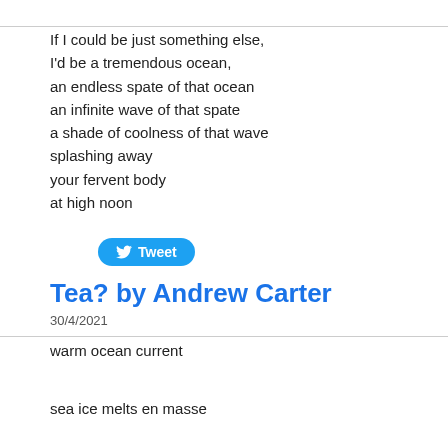If I could be just something else,
I'd be a tremendous ocean,
an endless spate of that ocean
an infinite wave of that spate
a shade of coolness of that wave
splashing away
your fervent body
at high noon
[Figure (other): Twitter Tweet button with bird icon]
Tea? by Andrew Carter
30/4/2021
warm ocean current
sea ice melts en masse